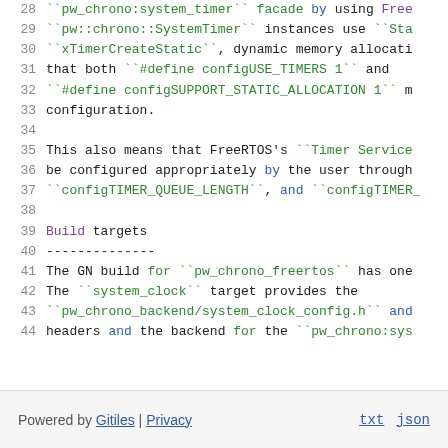28   ``pw_chrono:system_timer`` facade by using FreeRTOS
29   ``pw::chrono::SystemTimer`` instances use ``Static
30   ``xTimerCreateStatic``, dynamic memory allocation
31   that both ``#define configUSE_TIMERS 1`` and
32   ``#define configSUPPORT_STATIC_ALLOCATION 1`` must be set in FreeRTOS
33   configuration.
34
35   This also means that FreeRTOS's ``Timer Service
36   be configured appropriately by the user through
37   ``configTIMER_QUEUE_LENGTH``, and ``configTIMER_
38
Build targets
--------------
41   The GN build for ``pw_chrono_freertos`` has one
42   The ``system_clock`` target provides the
43   ``pw_chrono_backend/system_clock_config.h`` and
44   headers and the backend for the ``pw_chrono:sys
Powered by Gitiles | Privacy    txt  json